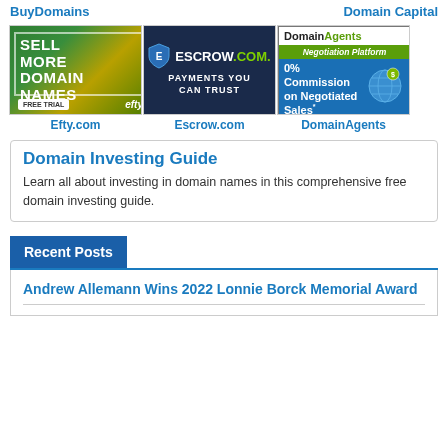BuyDomains
Domain Capital
[Figure (illustration): Efty.com ad: green background with text SELL MORE DOMAIN NAMES, FREE TRIAL button, efty branding]
[Figure (illustration): Escrow.com ad: dark navy background with Escrow.com logo and shield, text PAYMENTS YOU CAN TRUST]
[Figure (illustration): DomainAgents Negotiation Platform ad: 0% Commission on Negotiated Sales, CLICK HERE button]
Efty.com
Escrow.com
DomainAgents
Domain Investing Guide
Learn all about investing in domain names in this comprehensive free domain investing guide.
Recent Posts
Andrew Allemann Wins 2022 Lonnie Borck Memorial Award